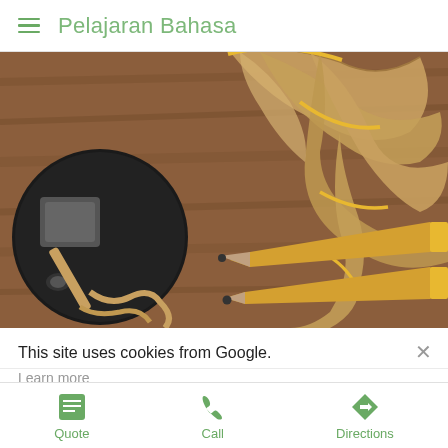Pelajaran Bahasa
[Figure (photo): Close-up photo of pencils and pencil shavings on a wooden surface, with a pencil sharpener visible on the left side.]
This site uses cookies from Google.
Learn more
Quote  Call  Directions